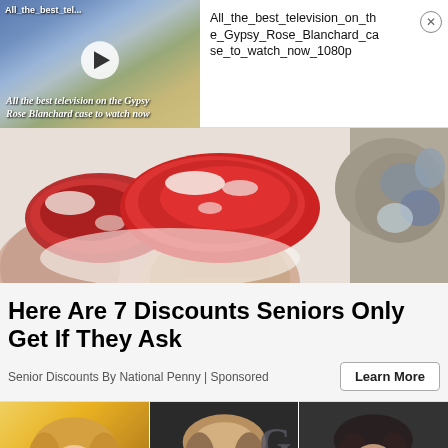[Figure (screenshot): Video thumbnail ad showing 'All_the_best_tel...' with play button overlay, italic text 'All the best television on the Gypsy Rose Blanchard case to watch now']
All_the_best_television_on_the_Gypsy_Rose_Blanchard_case_to_watch_now_1080p
[Figure (photo): Photo of raw red meat/beef cuts being held on a white surface, with an aged/marbled piece on the right]
Here Are 7 Discounts Seniors Only Get If They Ask
Senior Discounts By National Penny | Sponsored
Learn More
[Figure (photo): Three celebrity headshot thumbnails side by side — blonde person on yellow background, person with highlighted hair on dark background with GQ logo, dark-haired person on dark background]